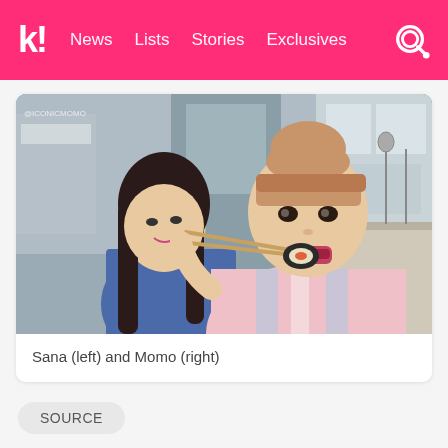k! News Lists Stories Exclusives
[Figure (photo): Two young women in a kitchen setting. One woman on the left has long dark hair and wears a blue satin top. The other woman in the foreground has light brown hair in a bun with bangs, wearing a pink striped sweater, eating sushi/kimbap with chopsticks. Watermark: @ICONICMOMO]
Sana (left) and Momo (right)
SOURCE